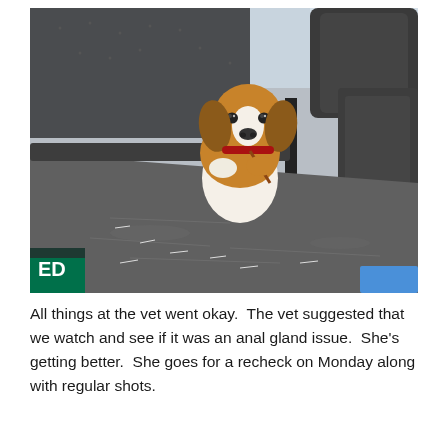[Figure (photo): A beagle dog sitting in the back seat of a car, looking over the seat back toward the camera. The dog is tan and white with a red collar and leash. The car interior has dark gray fabric seats. A partial green Starbucks cup is visible in the lower left corner.]
All things at the vet went okay.  The vet suggested that we watch and see if it was an anal gland issue.  She's getting better.  She goes for a recheck on Monday along with regular shots.